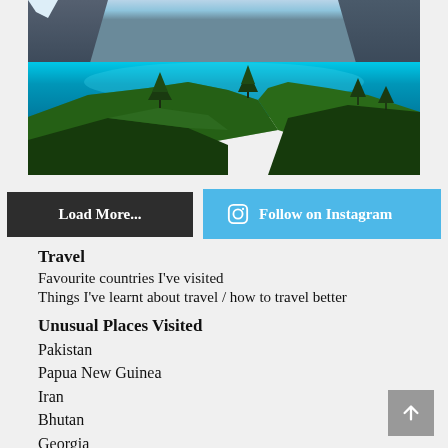[Figure (photo): Aerial/elevated view of a vivid turquoise alpine lake surrounded by steep rocky mountains and green pine-covered ridges]
Load More...
Follow on Instagram
Travel
Favourite countries I've visited
Things I've learnt about travel / how to travel better
Unusual Places Visited
Pakistan
Papua New Guinea
Iran
Bhutan
Georgia
Ethiopia
Syria